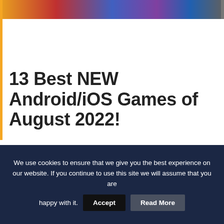[Figure (photo): Colorful hero banner image at the top of the page showing game-related imagery with bold colors]
13 Best NEW Android/iOS Games of August 2022!
“13 Best NEW Android/iOS Games of August 2022!” August seems to be dropping a lot of new spicy mobile games 🌶 so here we are back again with another banger video covering the best new Android/iOS games to play for this month – August 2022! 1 –
We use cookies to ensure that we give you the best experience on our website. If you continue to use this site we will assume that you are happy with it.
Accept
Read More